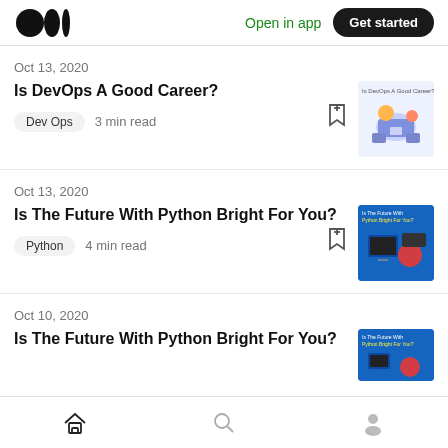Medium logo | Open in app | Get started
Oct 13, 2020
Is DevOps A Good Career?
Dev Ops  3 min read
Oct 13, 2020
Is The Future With Python Bright For You?
Python  4 min read
Oct 10, 2020
Is The Future With Python Bright For You?
Home | Search | Profile